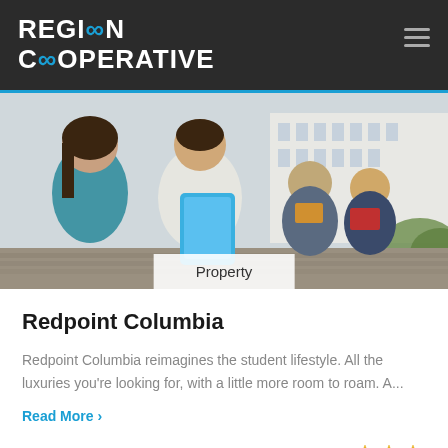REGION COOPERATIVE
[Figure (photo): Group of college students sitting on steps outside a building, studying and socializing. Two women and a man in foreground looking at a blue tablet, others in background with books.]
Property
Redpoint Columbia
Redpoint Columbia reimagines the student lifestyle. All the luxuries you're looking for, with a little more room to roam. A...
Read More ›
Rating